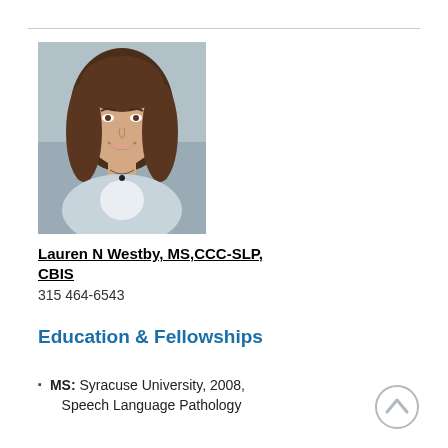[Figure (photo): Professional headshot of Lauren N Westby, a woman with long brown hair, smiling, wearing a light blue top with a floral pattern, photographed against a gray background.]
Lauren N Westby, MS,CCC-SLP, CBIS
315 464-6543
Education & Fellowships
MS: Syracuse University, 2008, Speech Language Pathology